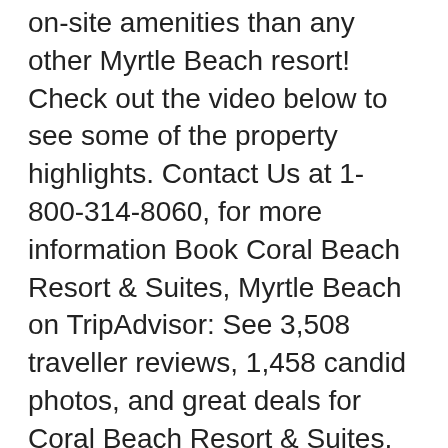on-site amenities than any other Myrtle Beach resort! Check out the video below to see some of the property highlights. Contact Us at 1-800-314-8060, for more information Book Coral Beach Resort & Suites, Myrtle Beach on TripAdvisor: See 3,508 traveller reviews, 1,458 candid photos, and great deals for Coral Beach Resort & Suites, ranked #15 of 191 hotels in Myrtle Beach and rated 4 of 5 at TripAdvisor. Prices are calculated as of 2020 …
Find 484 listings related to Coral Reef Hotel in Myrtle Beach on YP.com. See reviews, photos, directions, phone numbers and more for Coral Reef Hotel locations in Myrtle Beach, SC. Coral